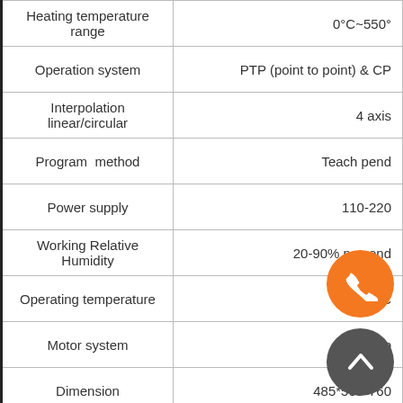| Parameter | Value |
| --- | --- |
| Heating temperature range | 0°C~550° |
| Operation system | PTP (point to point) & CP |
| Interpolation linear/circular | 4 axis |
| Program  method | Teach pend |
| Power supply | 110-220 |
| Working Relative Humidity | 20-90% no cond |
| Operating temperature | 0~40°C |
| Motor system | Stepp... |
| Dimension | 485*505*760 |
| Weight | 36kg |
[Figure (other): Orange circular phone/call button overlay]
[Figure (other): Gray circular up-arrow/back-to-top button overlay]